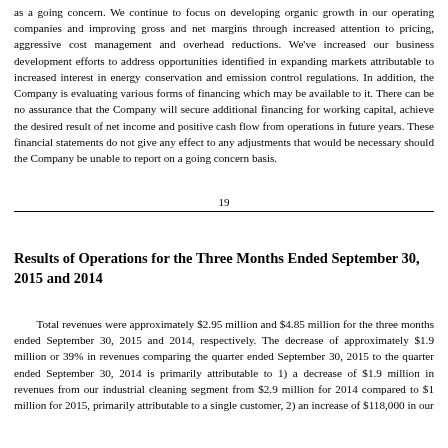as a going concern. We continue to focus on developing organic growth in our operating companies and improving gross and net margins through increased attention to pricing, aggressive cost management and overhead reductions. We've increased our business development efforts to address opportunities identified in expanding markets attributable to increased interest in energy conservation and emission control regulations. In addition, the Company is evaluating various forms of financing which may be available to it. There can be no assurance that the Company will secure additional financing for working capital, achieve the desired result of net income and positive cash flow from operations in future years. These financial statements do not give any effect to any adjustments that would be necessary should the Company be unable to report on a going concern basis.
19
Results of Operations for the Three Months Ended September 30, 2015 and 2014
Total revenues were approximately $2.95 million and $4.85 million for the three months ended September 30, 2015 and 2014, respectively. The decrease of approximately $1.9 million or 39% in revenues comparing the quarter ended September 30, 2015 to the quarter ended September 30, 2014 is primarily attributable to 1) a decrease of $1.9 million in revenues from our industrial cleaning segment from $2.9 million for 2014 compared to $1 million for 2015, primarily attributable to a single customer, 2) an increase of $118,000 in our